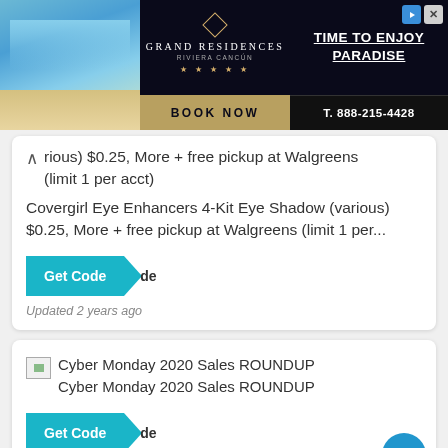[Figure (screenshot): Grand Residences Riviera Cancun advertisement banner with beach family photo, hotel logo, 'TIME TO ENJOY PARADISE' text, BOOK NOW button, and phone number T. 888-215-4428]
(rious) $0.25, More + free pickup at Walgreens (limit 1 per acct)
Covergirl Eye Enhancers 4-Kit Eye Shadow (various) $0.25, More + free pickup at Walgreens (limit 1 per...
[Figure (screenshot): Get Code button in teal/cyan color with arrow design]
Updated 2 years ago
Cyber Monday 2020 Sales ROUNDUP
Cyber Monday 2020 Sales ROUNDUP
[Figure (screenshot): Get Code button in teal/cyan color with arrow design]
Updated 2 years ago